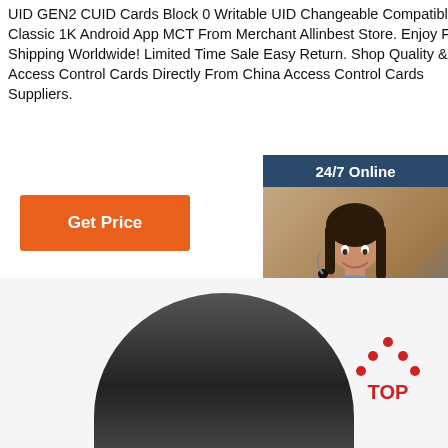UID GEN2 CUID Cards Block 0 Writable UID Changeable Compatible MF Classic 1K Android App MCT From Merchant Allinbest Store. Enjoy Free Shipping Worldwide! Limited Time Sale Easy Return. Shop Quality & Best Access Control Cards Directly From China Access Control Cards Suppliers.
[Figure (other): Orange 'Get Price' button]
[Figure (other): Sidebar widget with '24/7 Online' header, customer service representative photo, 'Click here for free chat!' text, and orange QUOTATION button on dark blue background]
[Figure (other): Bottom section showing a dark gray/black wristband or ring-shaped product against light background, with a red TOP icon in the bottom right]
[Figure (logo): TOP logo with red dots/triangles and red text 'TOP']